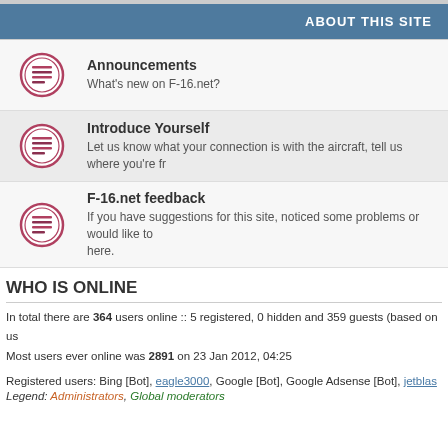ABOUT THIS SITE
Announcements — What's new on F-16.net?
Introduce Yourself — Let us know what your connection is with the aircraft, tell us where you're fr
F-16.net feedback — If you have suggestions for this site, noticed some problems or would like to ... here.
WHO IS ONLINE
In total there are 364 users online :: 5 registered, 0 hidden and 359 guests (based on us
Most users ever online was 2891 on 23 Jan 2012, 04:25
Registered users: Bing [Bot], eagle3000, Google [Bot], Google Adsense [Bot], jetblas
Legend: Administrators, Global moderators